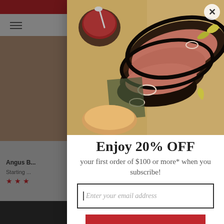[Figure (screenshot): Website screenshot showing a food e-commerce page with a modal popup offering 20% OFF discount for email subscription. The modal shows a food image of BBQ brisket on a cutting board, with headline 'Enjoy 20% OFF', subtitle 'your first order of $100 or more* when you subscribe!', an email input field, and an 'ACTIVATE OFFER' button in red.]
Enjoy 20% OFF
your first order of $100 or more* when you subscribe!
Enter your email address
ACTIVATE OFFER